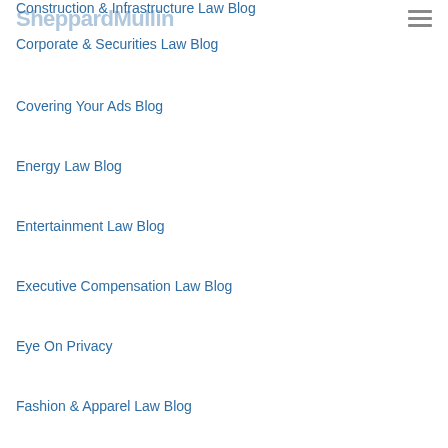SheppardMullin
Construction & Infrastructure Law Blog
Corporate & Securities Law Blog
Covering Your Ads Blog
Energy Law Blog
Entertainment Law Blog
Executive Compensation Law Blog
Eye On Privacy
Fashion & Apparel Law Blog
FCC Law Blog
FDA Law Update
Finance & Bankruptcy Law Blog
Financial Institutions Law Blog